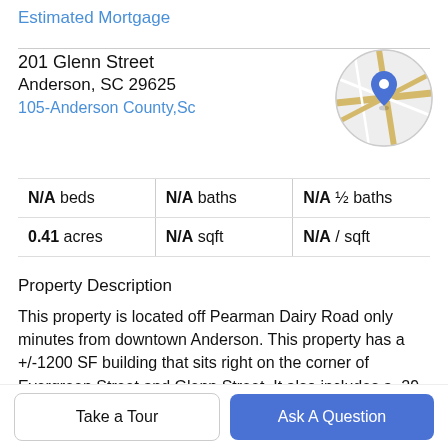Estimated Mortgage
201 Glenn Street
Anderson, SC 29625
105-Anderson County,Sc
[Figure (map): Circular map thumbnail with a blue location pin marker over road map.]
|  |  |  |
| --- | --- | --- |
| N/A beds | N/A baths | N/A ½ baths |
| 0.41 acres | N/A sqft | N/A / sqft |
Property Description
This property is located off Pearman Dairy Road only minutes from downtown Anderson. This property has a +/-1200 SF building that sits right on the corner of Evergreen Street and Glenn Street. It also includes a .29
acre vacant lot behind the building that is included in the
Take a Tour
Ask A Question